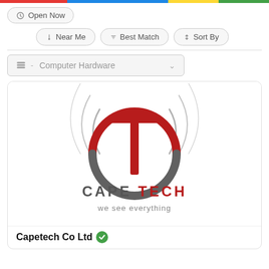[Figure (screenshot): Screenshot of a business directory app UI showing filter buttons (Open Now, Near Me, Best Match, Sort By), a Computer Hardware category dropdown, and a Cape Tech logo card with company name Capetech Co Ltd with a green verified badge.]
Open Now
Near Me
Best Match
Sort By
- Computer Hardware
[Figure (logo): Cape Tech logo: circular arc design with red upper arc and gray lower arc, with a vertical red bar forming a T shape in the center, surrounded by signal wave arcs on both sides. Text reads CAPE TECH we see everything.]
Capetech Co Ltd ✔